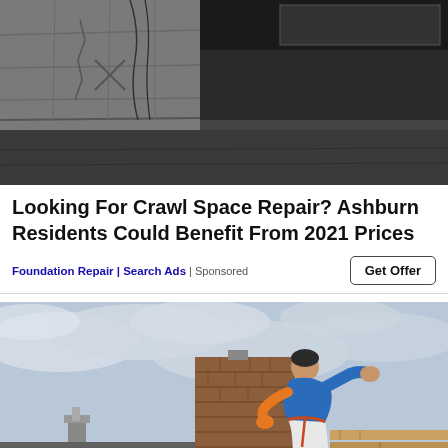[Figure (photo): Interior crawl space photo showing concrete block foundation walls with cracks, wiring, and structural elements in a dark, narrow space]
Looking For Crawl Space Repair? Ashburn Residents Could Benefit From 2021 Prices
Foundation Repair | Search Ads | Sponsored
[Figure (photo): Worker in blue shirt leaning over a brick chimney on a rooftop working on masonry repair, with stacked roof tiles visible and cloudy sky in background]